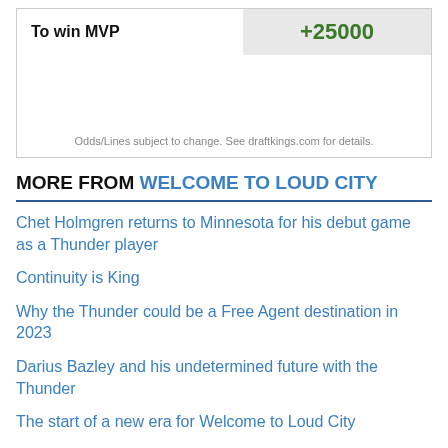|  |  |
| --- | --- |
| To win MVP | +25000 |
Odds/Lines subject to change. See draftkings.com for details.
MORE FROM WELCOME TO LOUD CITY
Chet Holmgren returns to Minnesota for his debut game as a Thunder player
Continuity is King
Why the Thunder could be a Free Agent destination in 2023
Darius Bazley and his undetermined future with the Thunder
The start of a new era for Welcome to Loud City
2022 Summer League Recap